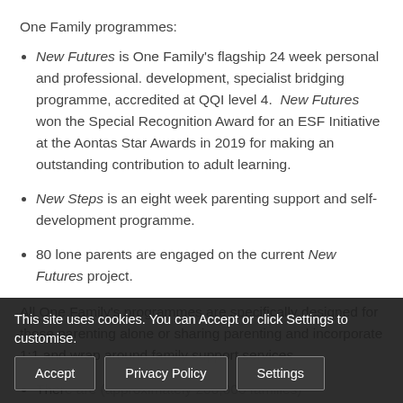One Family programmes:
New Futures is One Family's flagship 24 week personal and professional. development, specialist bridging programme, accredited at QQI level 4.  New Futures won the Special Recognition Award for an ESF Initiative at the Aontas Star Awards in 2019 for making an outstanding contribution to adult learning.
New Steps is an eight week parenting support and self-development programme.
80 lone parents are engaged on the current New Futures project.
All One Family's programmes are specifically designed for those parenting alone or sharing parenting and incorporate 1:1 and wrap around family support services.
There are (approximately 200,000 families) headed by a lone parent (Census 2016).
This site uses cookies. You can Accept or click Settings to customise.